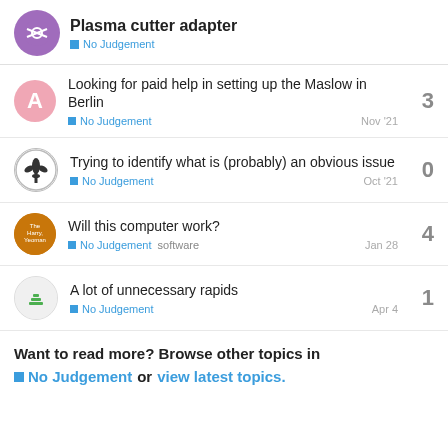Plasma cutter adapter — No Judgement
Looking for paid help in setting up the Maslow in Berlin — No Judgement — Nov '21 — 3 replies
Trying to identify what is (probably) an obvious issue — No Judgement — Oct '21 — 0 replies
Will this computer work? — No Judgement, software — Jan 28 — 4 replies
A lot of unnecessary rapids — No Judgement — Apr 4 — 1 reply
Want to read more? Browse other topics in No Judgement or view latest topics.